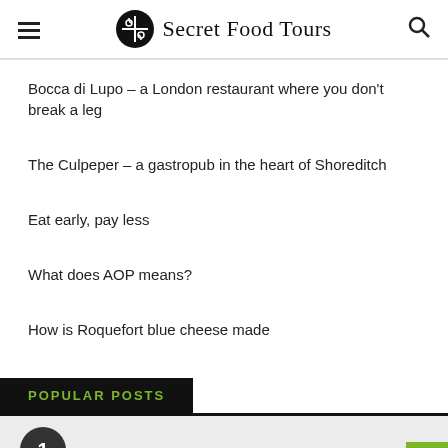Secret Food Tours
Bocca di Lupo – a London restaurant where you don't break a leg
The Culpeper – a gastropub in the heart of Shoreditch
Eat early, pay less
What does AOP means?
How is Roquefort blue cheese made
POPULAR POSTS
1